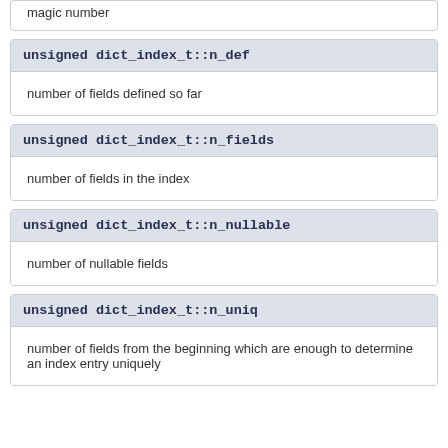magic number
unsigned dict_index_t::n_def
number of fields defined so far
unsigned dict_index_t::n_fields
number of fields in the index
unsigned dict_index_t::n_nullable
number of nullable fields
unsigned dict_index_t::n_uniq
number of fields from the beginning which are enough to determine an index entry uniquely